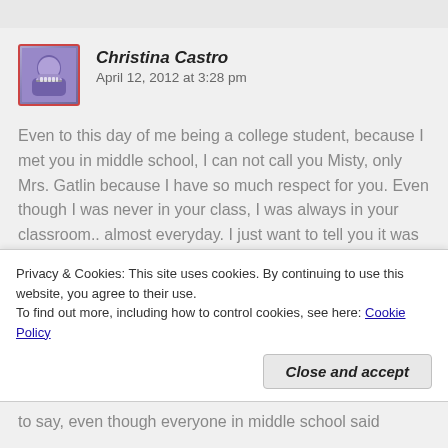Christina Castro   April 12, 2012 at 3:28 pm
Even to this day of me being a college student, because I met you in middle school, I can not call you Misty, only Mrs. Gatlin because I have so much respect for you. Even though I was never in your class, I was always in your classroom.. almost everyday. I just want to tell you it was not just
Privacy & Cookies: This site uses cookies. By continuing to use this website, you agree to their use.
To find out more, including how to control cookies, see here: Cookie Policy
Close and accept
to say, even though everyone in middle school said